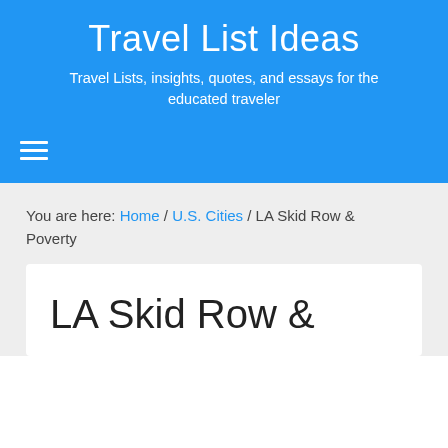Travel List Ideas
Travel Lists, insights, quotes, and essays for the educated traveler
Navigation menu
You are here: Home / U.S. Cities / LA Skid Row & Poverty
LA Skid Row &